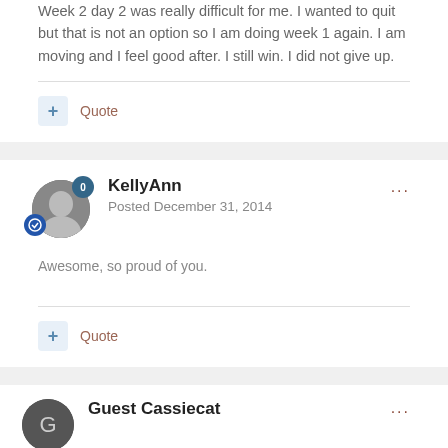Week 2 day 2 was really difficult for me. I wanted to quit but that is not an option so I am doing week 1 again. I am moving and I feel good after. I still win. I did not give up.
Quote
KellyAnn
Posted December 31, 2014
Awesome, so proud of you.
Quote
Guest Cassiecat